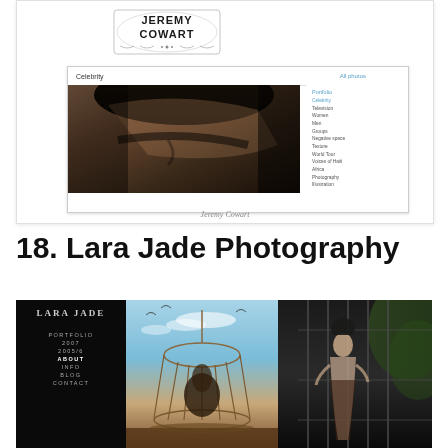[Figure (screenshot): Screenshot of Jeremy Cowart photography website showing a close-up dark moody photograph of a man's face, with 'Celebrity' navigation and sidebar menu items including Television, Women, Men, Groups, Negative space, Texture, World Tour, Voices of Haiti, Africa, Photography, Illustration. Logo at top shows stylized 'Jeremy Cowart' text.]
Jeremy Cowart
18. Lara Jade Photography
[Figure (screenshot): Screenshot of Lara Jade Photography website with dark/black background. Left side shows 'LARA JADE' logo text and navigation menu items: PORTFOLIO, 2007, 2005/6, ABOUT, INFO, BLOG, CONTACT. Right side shows two dramatic artistic photographs: first shows a figure inside a large birdcage with sky background, second shows a dark figure in a cage with moody lighting.]